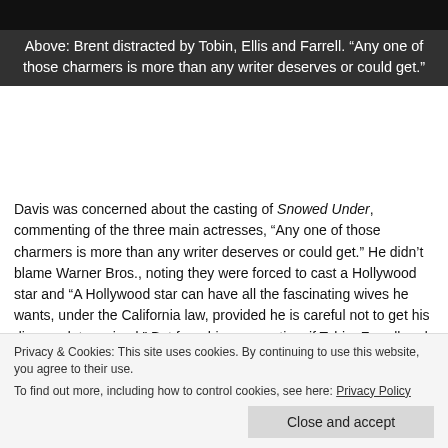[Figure (photo): Dark image strip at top of page, partially cropped]
Above: Brent distracted by Tobin, Ellis and Farrell. “Any one of those charmers is more than any writer deserves or could get.”
Davis was concerned about the casting of Snowed Under, commenting of the three main actresses, “Any one of those charmers is more than any writer deserves or could get.” He didn’t blame Warner Bros., noting they were forced to cast a Hollywood star and “A Hollywood star can have all the fascinating wives he wants, under the California law, provided he is careful not to get his divorce dates mixed.” But from his perspective, if Tobin, Farrell and Ellis were around to distract a writer, “he wouldn’t bother to write plays.
Privacy & Cookies: This site uses cookies. By continuing to use this website, you agree to their use. To find out more, including how to control cookies, see here: Privacy Policy